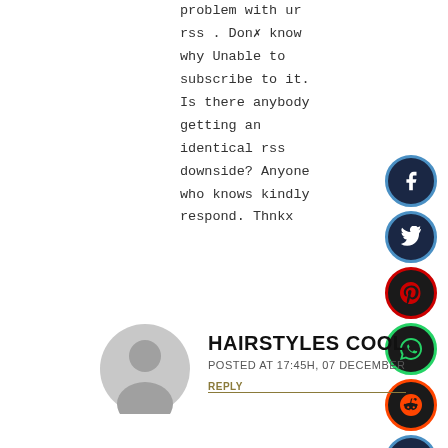problem with ur rss . Don✗ know why Unable to subscribe to it. Is there anybody getting an identical rss downside? Anyone who knows kindly respond. Thnkx
[Figure (infographic): Vertical social sharing buttons: Facebook (blue), Twitter (blue), Pinterest (red), WhatsApp (green), Reddit (orange-red), LinkedIn (blue), Messenger (blue) with white border box]
[Figure (illustration): Gray circular avatar/profile placeholder icon]
HAIRSTYLES COOL
POSTED AT 17:45H, 07 DECEMBER
REPLY